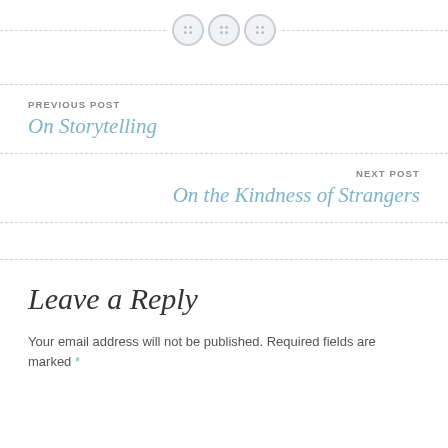[Figure (other): Decorative horizontal divider with three circular button-like icons in the center]
PREVIOUS POST
On Storytelling
NEXT POST
On the Kindness of Strangers
Leave a Reply
Your email address will not be published. Required fields are marked *